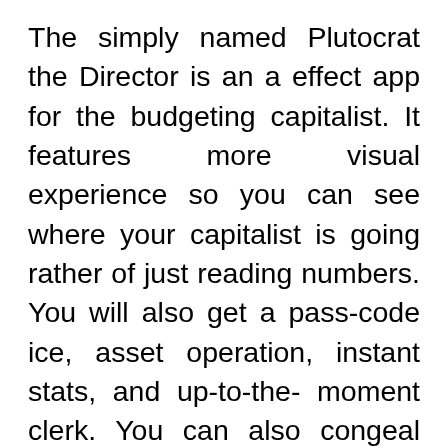The simply named Plutocrat the Director is an a effect app for the budgeting capitalist. It features more visual experience so you can see where your capitalist is going rather of just reading numbers. You will also get a pass-code ice, asset operation, instant stats, and up-to-the- moment clerk. You can also congeal and restore your data in case you need to switch the bias. It also labors you to an Excel spreadsheet format only if you need that. It uses the Material Design. That makes the UI look enough good. It is all free to download with the pro interpretation